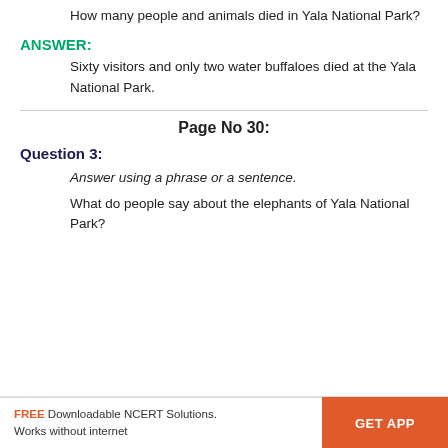How many people and animals died in Yala National Park?
ANSWER:
Sixty visitors and only two water buffaloes died at the Yala National Park.
Page No 30:
Question 3:
Answer using a phrase or a sentence.
What do people say about the elephants of Yala National Park?
FREE Downloadable NCERT Solutions. Works without internet   GET APP